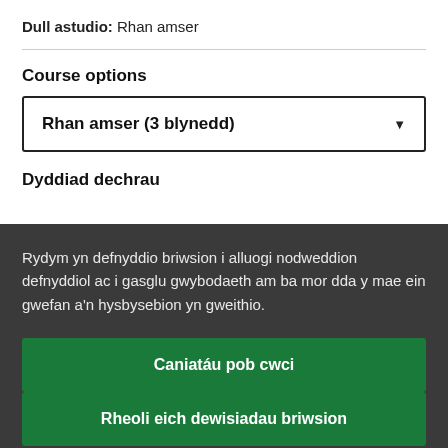Dull astudio: Rhan amser
Course options
Rhan amser (3 blynedd)
Dyddiad dechrau
Rydym yn defnyddio briwsion i alluogi nodweddion defnyddiol ac i gasglu gwybodaeth am ba mor dda y mae ein gwefan a'n hysbysebion yn gweithio.
Caniatáu pob cwci
Rheoli eich dewisiadau briwsion